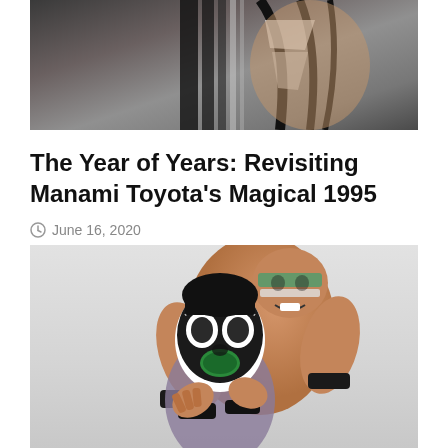[Figure (photo): Partial photo of a female wrestler with black hair and decorative costume straps, cropped at top of page]
The Year of Years: Revisiting Manami Toyota’s Magical 1995
June 16, 2020
[Figure (photo): Photo of two wrestlers: a muscular man with face paint in green and white holding another wrestler wearing a white and black face mask/paint with an open mouth expression]